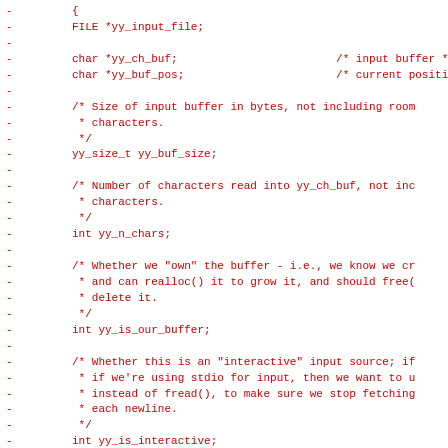-         {
-         FILE *yy_input_file;
-
-         char *yy_ch_buf;                        /* input buffer */
-         char *yy_buf_pos;                       /* current position
-
-         /* Size of input buffer in bytes, not including room
-          * characters.
-          */
-         yy_size_t yy_buf_size;
-
-         /* Number of characters read into yy_ch_buf, not inc
-          * characters.
-          */
-         int yy_n_chars;
-
-         /* Whether we "own" the buffer - i.e., we know we cr
-          * and can realloc() it to grow it, and should free(
-          * delete it.
-          */
-         int yy_is_our_buffer;
-
-         /* Whether this is an "interactive" input source; if
-          * if we're using stdio for input, then we want to u
-          * instead of fread(), to make sure we stop fetching
-          * each newline.
-          */
-         int yy_is_interactive;
-
-         /* Whether we're considered to be at the beginning o
-          * If so, '^' rules will be active on the next match
-          * not.
-          */